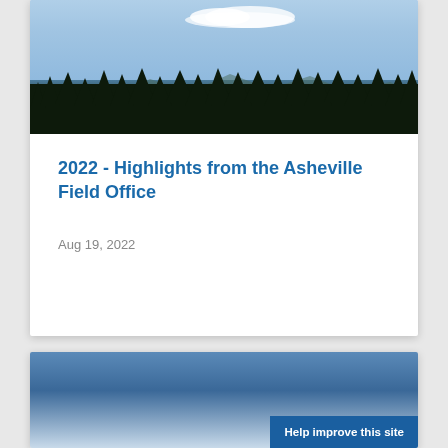[Figure (photo): Photograph of evergreen tree silhouettes against a blue sky with white clouds and distant mountains]
2022 - Highlights from the Asheville Field Office
Aug 19, 2022
[Figure (photo): Partial view of a second card with blue gradient background and a 'Help improve this site' button]